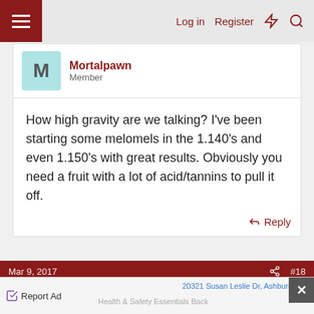Log in  Register
Mortalpawn
Member
How high gravity are we talking? I've been starting some melomels in the 1.140's and even 1.150's with great results. Obviously you need a fruit with a lot of acid/tannins to pull it off.
Reply
Mar 9, 2017  #18
Jericurl
The Ferminator
Report Ad